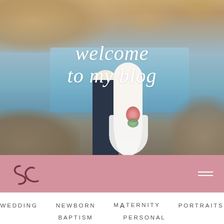[Figure (photo): Hero image of a couple (bride and groom) standing at rocky coast with water in background, overlaid with white italic text 'welcome to my blog']
welcome to my blog
[Figure (logo): Pink navigation bar with stylized 'SC' logo on left and hamburger menu icon on right]
WEDDING
NEWBORN
MATERNITY
PORTRAITS
BAPTISM
PERSONAL